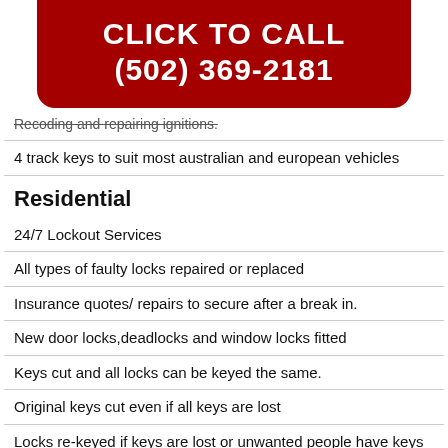CLICK TO CALL
(502) 369-2181
Recoding and repairing ignitions.
4 track keys to suit most australian and european vehicles
Residential
24/7 Lockout Services
All types of faulty locks repaired or replaced
Insurance quotes/ repairs to secure after a break in.
New door locks,deadlocks and window locks fitted
Keys cut and all locks can be keyed the same.
Original keys cut even if all keys are lost
Locks re-keyed if keys are lost or unwanted people have keys
New door hardware and fitting supplied
Free advice on security